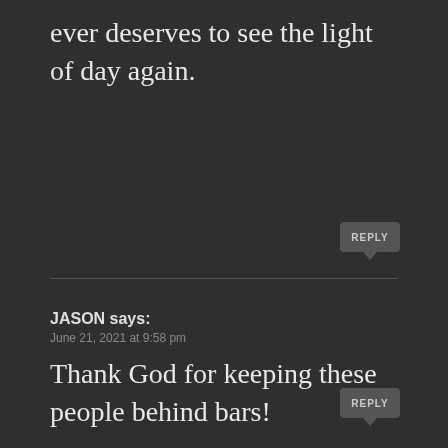ever deserves to see the light of day again.
[Figure (other): Reply button with speech bubble icon]
JASON says:
June 21, 2021 at 9:58 pm
Thank God for keeping these people behind bars!
[Figure (other): Reply button with speech bubble icon]